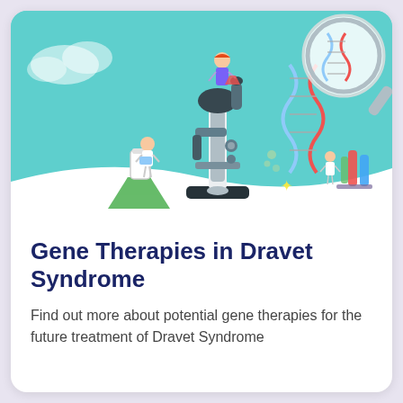[Figure (illustration): Medical science illustration with scientists, a large microscope, Erlenmeyer flask with green liquid, DNA double helix under a magnifying glass, and test tubes on a teal/mint green background.]
Gene Therapies in Dravet Syndrome
Find out more about potential gene therapies for the future treatment of Dravet Syndrome